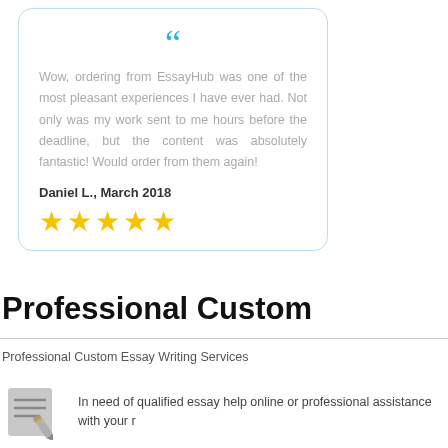Wow, ordering from EssayHub was one of the most pleasant experiences I have ever had. Not only was my work sent to me hours before the deadline, but the content was absolutely fantastic! Would order from them again!
Daniel L., March 2018
[Figure (other): Five yellow star rating icons]
Professional Custom
Professional Custom Essay Writing Services
[Figure (illustration): Gray document with pen/pencil icon representing essay writing]
In need of qualified essay help online or professional assistance with your r